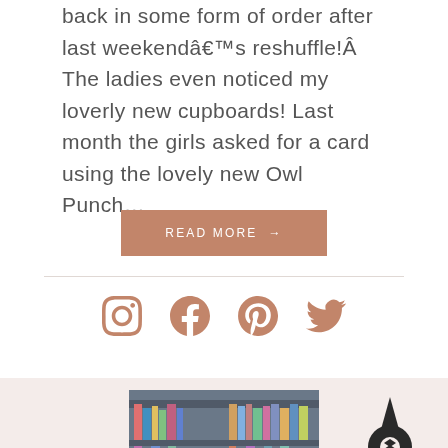back in some form of order after last weekendâ€™s reshuffle!Â  The ladies even noticed my loverly new cupboards! Last month the girls asked for a card using the lovely new Owl Punch…
READ MORE →
[Figure (other): Social media icons: Instagram, Facebook, Pinterest, Twitter in terracotta/mauve color]
[Figure (photo): Portrait photo of a woman with short purple-tinted hair and glasses, sitting in front of craft supply shelves]
[Figure (logo): A stylized compass/rocket logo in dark color on the lower right of the bottom section]